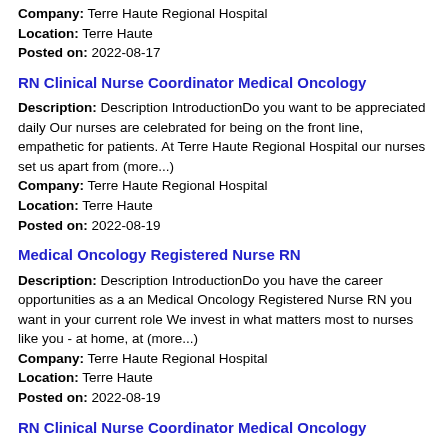Company: Terre Haute Regional Hospital
Location: Terre Haute
Posted on: 2022-08-17
RN Clinical Nurse Coordinator Medical Oncology
Description: Description IntroductionDo you want to be appreciated daily Our nurses are celebrated for being on the front line, empathetic for patients. At Terre Haute Regional Hospital our nurses set us apart from (more...)
Company: Terre Haute Regional Hospital
Location: Terre Haute
Posted on: 2022-08-19
Medical Oncology Registered Nurse RN
Description: Description IntroductionDo you have the career opportunities as a an Medical Oncology Registered Nurse RN you want in your current role We invest in what matters most to nurses like you - at home, at (more...)
Company: Terre Haute Regional Hospital
Location: Terre Haute
Posted on: 2022-08-19
RN Clinical Nurse Coordinator Medical Oncology
Description: Description IntroductionDo you want to be appreciated daily Our nurses are celebrated for being on the front line, empathetic for patients. At Terre Haute Regional Hospital our nurses set us apart from (more...)
Company: Terre Haute Regional Hospital